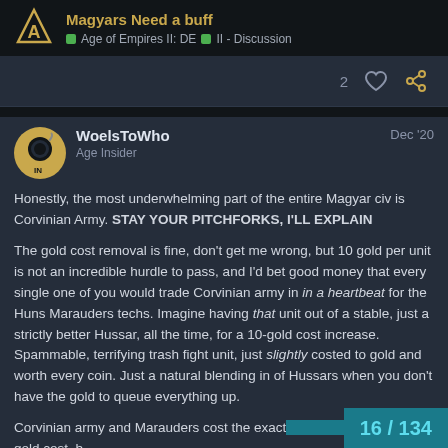Magyars Need a buff | Age of Empires II: DE | II - Discussion
2
WoelsToWho
Age Insider
Dec '20
Honestly, the most underwhelming part of the entire Magyar civ is Corvinian Army. STAY YOUR PITCHFORKS, I'LL EXPLAIN

The gold cost removal is fine, don't get me wrong, but 10 gold per unit is not an incredible hurdle to pass, and I'd bet good money that every single one of you would trade Corvinian army in in a heartbeat for the Huns Marauders techs. Imagine having that unit out of a stable, just a strictly better Hussar, all the time, for a 10-gold cost increase. Spammable, terrifying trash fight unit, just slightly costed to gold and worth every coin. Just a natural blending in of Hussars when you don't have the gold to queue everything up.

Corvinian army and Marauders cost the exact same gold cost, b Marauders is actually slightly worse in terms of upfront gold cost
16 / 134